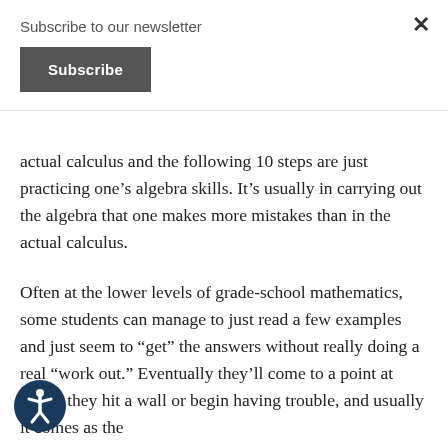Subscribe to our newsletter
Subscribe
actual calculus and the following 10 steps are just practicing one’s algebra skills. It’s usually in carrying out the algebra that one makes more mistakes than in the actual calculus.
Often at the lower levels of grade-school mathematics, some students can manage to just read a few examples and just seem to “get” the answers without really doing a real “work out.” Eventually they’ll come to a point at which they hit a wall or begin having trouble, and usually it comes as the
[Figure (illustration): Accessibility icon: circular dark blue button with a white human figure (accessibility symbol) in the center]